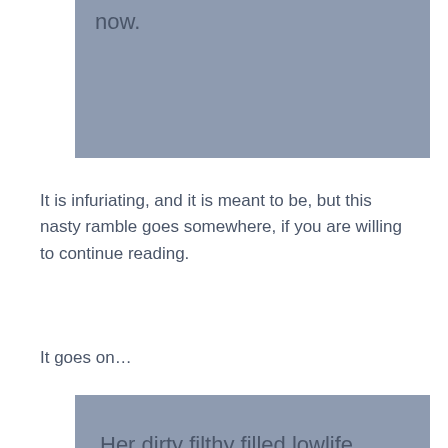[Figure (other): Gray shaded quote box (top, partially visible) containing the word 'now.']
It is infuriating, and it is meant to be, but this nasty ramble goes somewhere, if you are willing to continue reading.
It goes on…
[Figure (other): Gray shaded quote box containing text: 'Her dirty filthy filled lowlife trash mouth. Calls Ian Brady dad as well. And she begs him to stop touching her skinny little body as if the little rat' (text continues off page)]